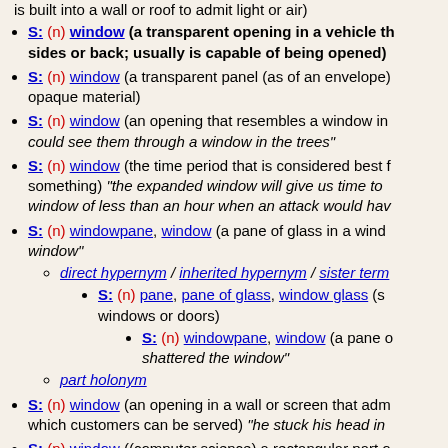is built into a wall or roof to admit light or air)
S: (n) window (a transparent opening in a vehicle that is in the sides or back; usually is capable of being opened)
S: (n) window (a transparent panel (as of an envelope) inserted in an opaque material)
S: (n) window (an opening that resembles a window in appearance or function) "could see them through a window in the trees"
S: (n) window (the time period that is considered best for accomplishing something) "the expanded window will give us time to deliberate" "a window of less than an hour when an attack would have to be launched"
S: (n) windowpane, window (a pane of glass in a window) "he could see them reflected in the window"
direct hypernym / inherited hypernym / sister term
S: (n) pane, pane of glass, window glass (sheet glass cut in shapes for windows or doors)
S: (n) windowpane, window (a pane of glass in a window) "the ball shattered the window"
part holonym
S: (n) window (an opening in a wall or screen that admits light and air and through which customers can be served) "he stuck his head in"
S: (n) window ((computer science) a rectangular part of a computer screen that contains a display different from the rest of the screen)
S: (n) Windows ((trademark) an operating system with